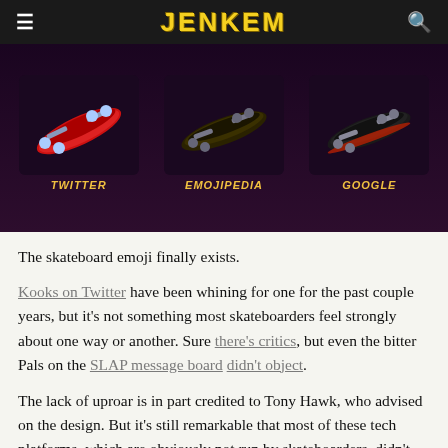JENKEM
[Figure (illustration): Three skateboard emojis side by side on a dark purple background, labeled TWITTER, EMOJIPEDIA, and GOOGLE respectively]
The skateboard emoji finally exists.
Kooks on Twitter have been whining for one for the past couple years, but it's not something most skateboarders feel strongly about one way or another. Sure there's critics, but even the bitter Pals on the SLAP message board didn't object.
The lack of uproar is in part credited to Tony Hawk, who advised on the design. But it's still remarkable that most of these tech platforms, which are obviously not run by skateboarders, didn't completely butcher the task of representing skateboards.